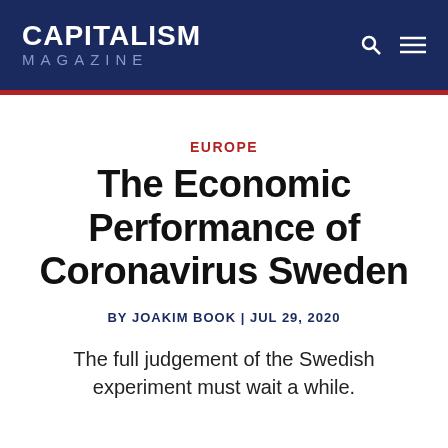CAPITALISM MAGAZINE
EUROPE
The Economic Performance of Coronavirus Sweden
BY JOAKIM BOOK | JUL 29, 2020
The full judgement of the Swedish experiment must wait a while.